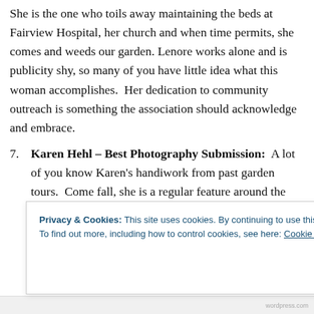She is the one who toils away maintaining the beds at Fairview Hospital, her church and when time permits, she comes and weeds our garden. Lenore works alone and is publicity shy, so many of you have little idea what this woman accomplishes.  Her dedication to community outreach is something the association should acknowledge and embrace.
7. Karen Hehl – Best Photography Submission:  A lot of you know Karen's handiwork from past garden tours.  Come fall, she is a regular feature around the office garden weeding and clipping. What I didn't realize was…
Privacy & Cookies: This site uses cookies. By continuing to use this website, you agree to their use.
To find out more, including how to control cookies, see here: Cookie Policy